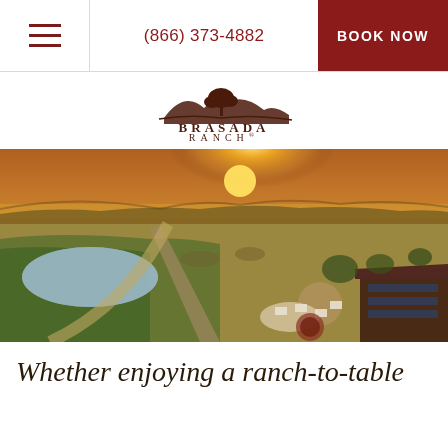(866) 373-4882 | BOOK NOW
[Figure (logo): Brasada Ranch logo with tree and mountain silhouette illustration above the text BRASADA RANCH®]
[Figure (photo): Aerial sunset photograph of Brasada Ranch showing a ranch landscape with a pond, green fields, dirt roads, outdoor dining area with tables, rustic barn buildings, and surrounding high desert terrain under a golden sunset sky]
Whether enjoying a ranch-to-table